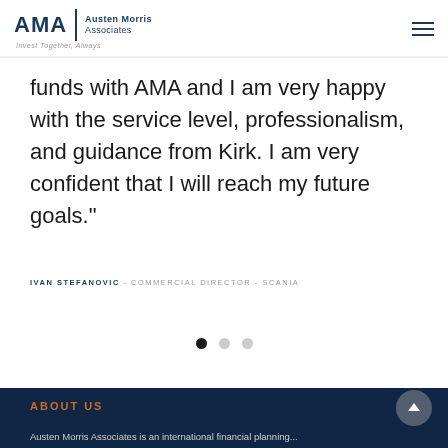[Figure (logo): AMA Austen Morris Associates logo with tagline 'Invest Together, Always']
funds with AMA and I am very happy with the service level, professionalism, and guidance from Kirk. I am very confident that I will reach my future goals."
IVAN STEFANOVIC - COMMERCIAL DIRECTOR - SCANIA
[Figure (other): Carousel pagination dots: first dot active (filled black), second and third dots inactive (light grey)]
ABOUT US
Austen Morris Associates is an international financial planning...